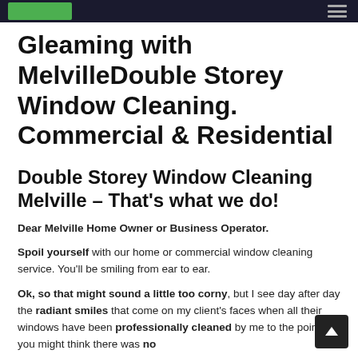Gleaming with MelvilleDouble Storey Window Cleaning. Commercial & Residential
Double Storey Window Cleaning Melville – That's what we do!
Dear Melville Home Owner or Business Operator.
Spoil yourself with our home or commercial window cleaning service. You'll be smiling from ear to ear.
Ok, so that might sound a little too corny, but I see day after day the radiant smiles that come on my client's faces when all their windows have been professionally cleaned by me to the point you might think there was no